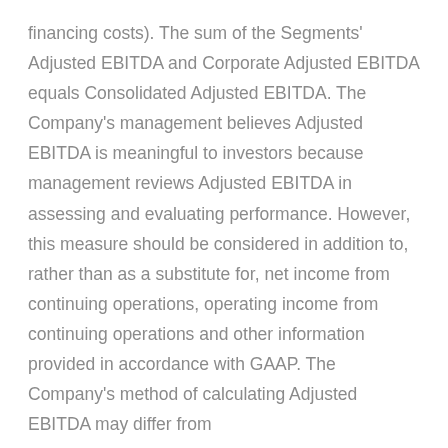financing costs). The sum of the Segments' Adjusted EBITDA and Corporate Adjusted EBITDA equals Consolidated Adjusted EBITDA. The Company's management believes Adjusted EBITDA is meaningful to investors because management reviews Adjusted EBITDA in assessing and evaluating performance. However, this measure should be considered in addition to, rather than as a substitute for, net income from continuing operations, operating income from continuing operations and other information provided in accordance with GAAP. The Company's method of calculating Adjusted EBITDA may differ from